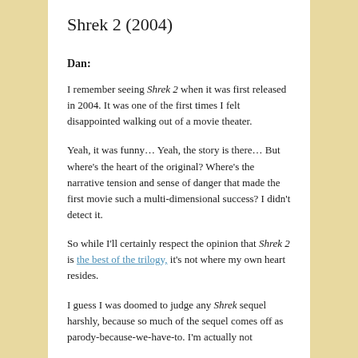Shrek 2 (2004)
Dan:
I remember seeing Shrek 2 when it was first released in 2004. It was one of the first times I felt disappointed walking out of a movie theater.
Yeah, it was funny… Yeah, the story is there… But where's the heart of the original? Where's the narrative tension and sense of danger that made the first movie such a multi-dimensional success? I didn't detect it.
So while I'll certainly respect the opinion that Shrek 2 is the best of the trilogy, it's not where my own heart resides.
I guess I was doomed to judge any Shrek sequel harshly, because so much of the sequel comes off as parody-because-we-have-to. I'm actually not